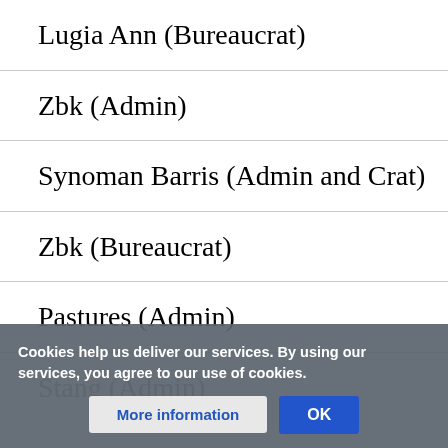Lugia Ann (Bureaucrat)
Zbk (Admin)
Synoman Barris (Admin and Crat)
Zbk (Bureaucrat)
Pastures (Admin)
Stang (Admin)
Cookies help us deliver our services. By using our services, you agree to our use of cookies.
More information
OK